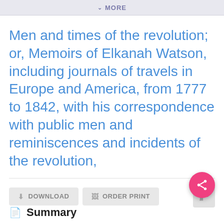MORE
Men and times of the revolution; or, Memoirs of Elkanah Watson, including journals of travels in Europe and America, from 1777 to 1842, with his correspondence with public men and reminiscences and incidents of the revolution,
[Figure (screenshot): UI buttons: DOWNLOAD, ORDER PRINT, and a share/edit icon square button]
[Figure (infographic): Pink circular FAB (floating action button) with a share icon]
Summary